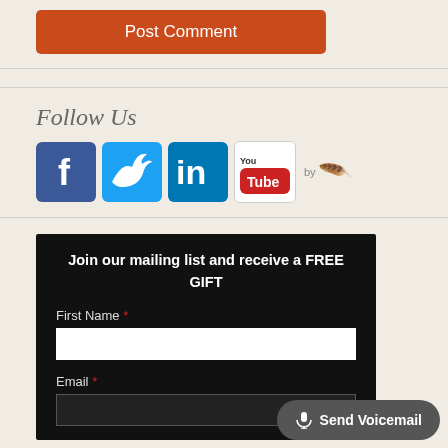[Figure (other): Post Comment button - orange/red rounded rectangle button with white text]
Follow Us
[Figure (other): Social media icons row: Facebook (blue), Twitter (light blue), LinkedIn (dark blue), YouTube (white with red logo), followed by 'by' label and feather/quill icon]
Join our mailing list and receive a FREE GIFT
First Name *
Email *
[Figure (other): Send Voicemail button - dark gray rounded rectangle with microphone icon and white text]